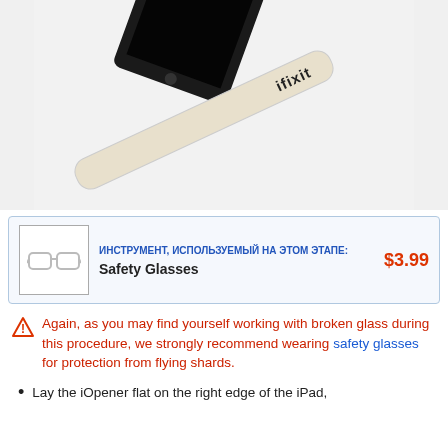[Figure (photo): iPad device with iOpener tool (a white fabric cushion) lying diagonally across the screen/device, on a white background.]
| ИНСТРУМЕНТ, ИСПОЛЬЗУЕМЫЙ НА ЭТОМ ЭТАПЕ: | $3.99 | Safety Glasses |
Again, as you may find yourself working with broken glass during this procedure, we strongly recommend wearing safety glasses for protection from flying shards.
Lay the iOpener flat on the right edge of the iPad,